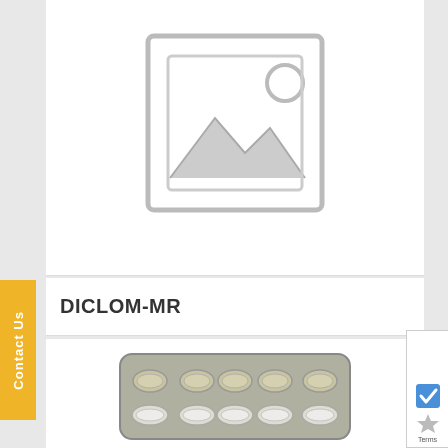[Figure (photo): Placeholder image icon showing a mountain/landscape silhouette inside a rounded rectangle frame, gray tones on white background]
DICLOM-MR
[Figure (photo): Photograph of a blister pack of oval/capsule shaped tablets, metallic silver foil packaging with two rows of 5 tablets each]